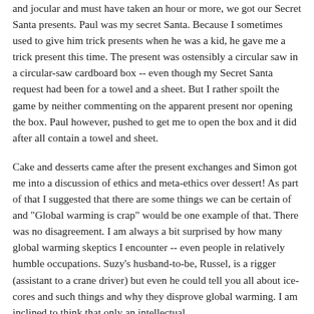and jocular and must have taken an hour or more, we got our Secret Santa presents. Paul was my secret Santa. Because I sometimes used to give him trick presents when he was a kid, he gave me a trick present this time. The present was ostensibly a circular saw in a circular-saw cardboard box -- even though my Secret Santa request had been for a towel and a sheet. But I rather spoilt the game by neither commenting on the apparent present nor opening the box. Paul however, pushed to get me to open the box and it did after all contain a towel and sheet.
Cake and desserts came after the present exchanges and Simon got me into a discussion of ethics and meta-ethics over dessert! As part of that I suggested that there are some things we can be certain of and "Global warming is crap" would be one example of that. There was no disagreement. I am always a bit surprised by how many global warming skeptics I encounter -- even people in relatively humble occupations. Suzy's husband-to-be, Russel, is a rigger (assistant to a crane driver) but even he could tell you all about ice-cores and such things and why they disprove global warming. I am inclined to think that only an intellectual